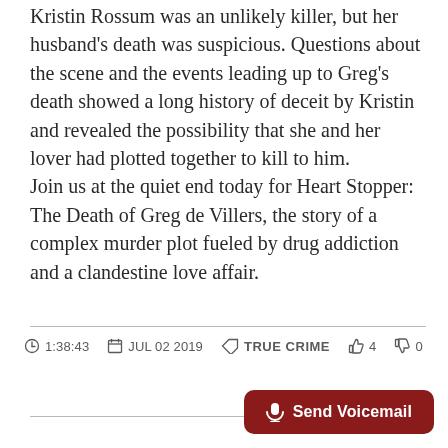Kristin Rossum was an unlikely killer, but her husband's death was suspicious. Questions about the scene and the events leading up to Greg's death showed a long history of deceit by Kristin and revealed the possibility that she and her lover had plotted together to kill to him. Join us at the quiet end today for Heart Stopper: The Death of Greg de Villers, the story of a complex murder plot fueled by drug addiction and a clandestine love affair.
1:38:43  JUL 02 2019  TRUE CRIME  4  0